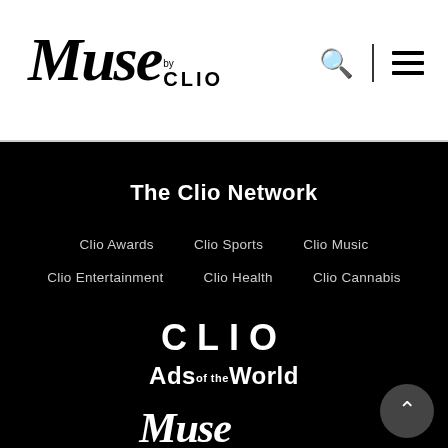Muse by CLIO
The Clio Network
Clio Awards
Clio Sports
Clio Music
Clio Entertainment
Clio Health
Clio Cannabis
[Figure (logo): CLIO logo in large white spaced capitals]
[Figure (logo): Ads of the World logo in white bold text]
[Figure (logo): Muse italic script logo in white]